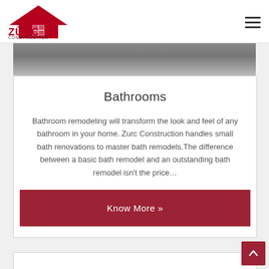ZÜRC CONSTRUCTION
[Figure (photo): Top portion of a bathroom photo, partially cut off, showing dark bathroom fixtures against a grey/dark background]
Bathrooms
Bathroom remodeling will transform the look and feel of any bathroom in your home. Zurc Construction handles small bath renovations to master bath remodels.The difference between a basic bath remodel and an outstanding bath remodel isn't the price…
Know More »
[Figure (screenshot): Bottom portion of another card section, partially visible]